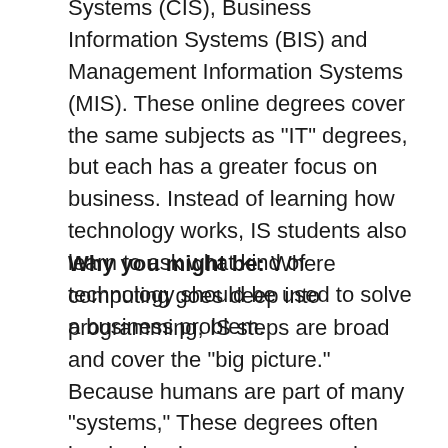Systems (CIS), Business Information Systems (BIS) and Management Information Systems (MIS). These online degrees cover the same subjects as "IT" degrees, but each has a greater focus on business. Instead of learning how technology works, IS students also learn to ask what kind of technology should be used to solve a business problem.
Why you might be: Where computing goes deep into programming, IS steps are broad and cover the "big picture." Because humans are part of many "systems," These degrees often involve business courses such as project management or management communications.